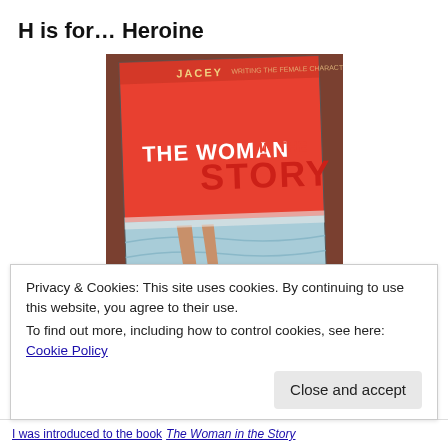H is for… Heroine
[Figure (photo): A photograph of the book 'The Woman in the Story' by Jacey, placed on a brown fabric surface. The book cover is red on top with the author name 'JACEY', and the lower half shows an illustration of a woman's legs in sandals resting on the edge of what appears to be a pool or bathtub with blue water.]
Privacy & Cookies: This site uses cookies. By continuing to use this website, you agree to their use.
To find out more, including how to control cookies, see here: Cookie Policy
I was introduced to the book The Woman in the Story